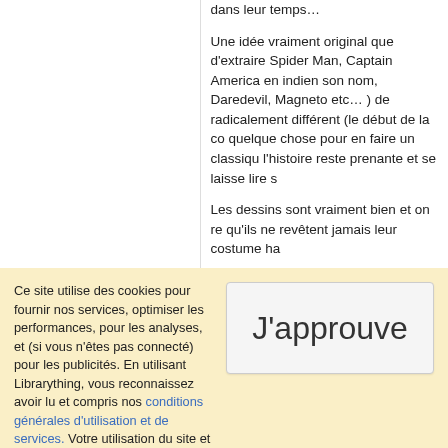dans leur temps…
Une idée vraiment original que d'extraire Spider Man, Captain America en indien son nom, Daredevil, Magneto etc… ) de radicalement différent (le début de la co quelque chose pour en faire un classiqu l'histoire reste prenante et se laisse lire s
Les dessins sont vraiment bien et on re qu'ils ne revêtent jamais leur costume ha
( ★★★ )
Ce site utilise des cookies pour fournir nos services, optimiser les performances, pour les analyses, et (si vous n'êtes pas connecté) pour les publicités. En utilisant Librarything, vous reconnaissez avoir lu et compris nos conditions générales d'utilisation et de services. Votre utilisation du site et de ses services vaut acceptation de ces conditions et termes.
J'approuve